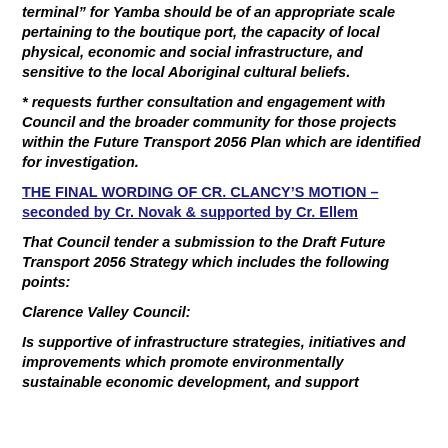terminal" for Yamba should be of an appropriate scale pertaining to the boutique port, the capacity of local physical, economic and social infrastructure, and sensitive to the local Aboriginal cultural beliefs.
* requests further consultation and engagement with Council and the broader community for those projects within the Future Transport 2056 Plan which are identified for investigation.
THE FINAL WORDING OF CR. CLANCY'S MOTION – seconded by Cr. Novak & supported by Cr. Ellem
That Council tender a submission to the Draft Future Transport 2056 Strategy which includes the following points:
Clarence Valley Council:
Is supportive of infrastructure strategies, initiatives and improvements which promote environmentally sustainable economic development, and support